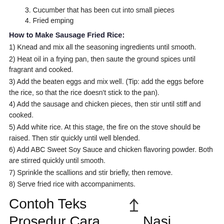3. Cucumber that has been cut into small pieces
4. Fried emping
How to Make Sausage Fried Rice:
1) Knead and mix all the seasoning ingredients until smooth.
2) Heat oil in a frying pan, then saute the ground spices until fragrant and cooked.
3) Add the beaten eggs and mix well. (Tip: add the eggs before the rice, so that the rice doesn't stick to the pan).
4) Add the sausage and chicken pieces, then stir until stiff and cooked.
5) Add white rice. At this stage, the fire on the stove should be raised. Then stir quickly until well blended.
6) Add ABC Sweet Soy Sauce and chicken flavoring powder. Both are stirred quickly until smooth.
7) Sprinkle the scallions and stir briefly, then remove.
8) Serve fried rice with accompaniments.
Contoh Teks Prosedur Cara Membuat Nasi Goreng Sederhana